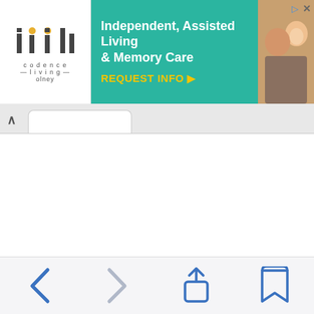[Figure (screenshot): Advertisement banner for Codence Living Olney: Independent, Assisted Living & Memory Care with REQUEST INFO button]
For security and safety reasons U.S. Embassy staff are still prohibited from visiting public open-air markets; public places of worship; public events not at U.S. government facilities or residences. When choosing to go out for dining, consider the security precautions of the restaurant. Embassy personnel ha...
[Figure (screenshot): Browser bottom navigation bar with back, forward, share, and bookmarks icons]